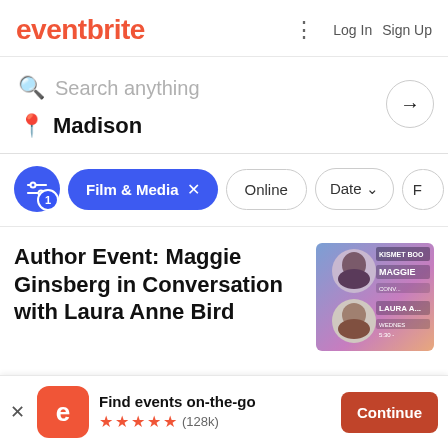eventbrite   Log In   Sign Up
Search anything
Madison
Film & Media × Online Date F
Author Event: Maggie Ginsberg in Conversation with Laura Anne Bird
[Figure (photo): Event promotional image showing two women (Maggie Ginsberg and Laura Anne Bird) with text overlay on a colorful background]
Find events on-the-go ★★★★★ (128k)
Continue